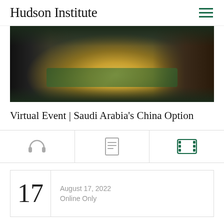Hudson Institute
[Figure (photo): Conference room with diplomats seated around a large table, with flags in the center, seen from the side]
Virtual Event | Saudi Arabia's China Option
[Figure (infographic): Three icons in a row: headphones (audio), document/transcript, and film reel (video)]
| Day | Date | Location |
| --- | --- | --- |
| 17 | August 17, 2022 | Online Only |